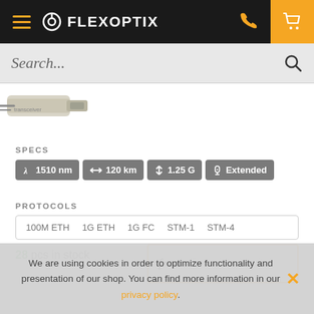FLEXOPTIX - Navigation bar with hamburger menu, logo, phone icon, cart icon
Search...
[Figure (photo): Partial view of a fiber optic transceiver/connector product image in top-left corner]
SPECS
1510 nm  |  120 km  |  1.25 G  |  Extended
PROTOCOLS
100M ETH   1G ETH   1G FC   STM-1   STM-4
28 pcs in stock
from
We are using cookies in order to optimize functionality and presentation of our shop. You can find more information in our privacy policy.